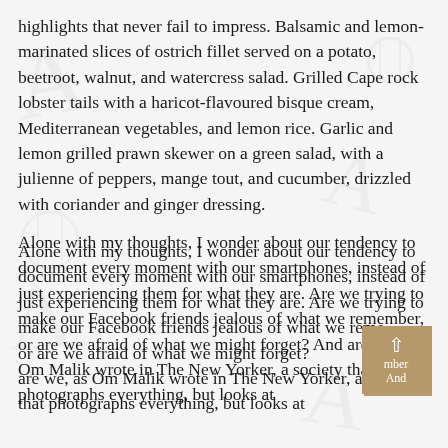highlights that never fail to impress. Balsamic and lemon-marinated slices of ostrich fillet served on a potato, beetroot, walnut, and watercress salad. Grilled Cape rock lobster tails with a haricot-flavoured bisque cream, Mediterranean vegetables, and lemon rice. Garlic and lemon grilled prawn skewer on a green salad, with a julienne of peppers, mange tout, and cucumber, drizzled with coriander and ginger dressing.
Alone with my thoughts, I wonder about our tendency to document every moment with our smartphones, instead of just experiencing them for what they are. Are we trying to make our Facebook friends jealous of what we remember, or are we afraid of what we might forget? And are we, as Om Malik wrote in The New Yorker, a society that photographs everything, but looks at